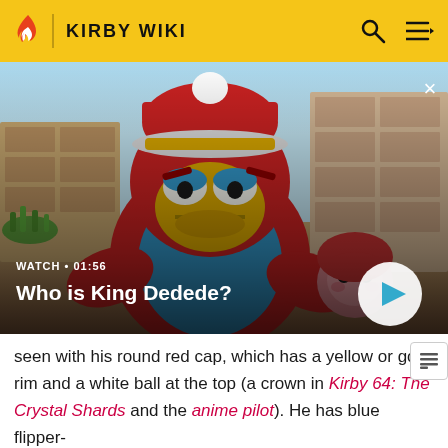KIRBY WIKI
[Figure (screenshot): Video thumbnail showing King Dedede character (large round penguin-like figure in red and blue with yellow beak) and a smaller pink character, with wooden background. Overlay shows 'WATCH • 01:56' and title 'Who is King Dedede?' with a play button.]
seen with his round red cap, which has a yellow or gold rim and a white ball at the top (a crown in Kirby 64: The Crystal Shards and the anime pilot). He has blue flipper-like hands, though they are usually covered by a pair of yellow mittens. He has a tan "onesie" (occasionally